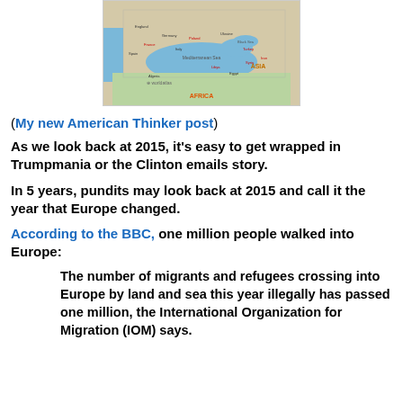[Figure (map): Map of Europe and surrounding regions including Middle East and North Africa, labeled with country names. Mediterranean Sea is shown in blue. AFRICA label visible at bottom, ASIA label at right. Worldatlas watermark visible.]
(My new American Thinker post)
As we look back at 2015, it's easy to get wrapped in Trumpmania or the Clinton emails story.
In 5 years, pundits may look back at 2015 and call it the year that Europe changed.
According to the BBC, one million people walked into Europe:
The number of migrants and refugees crossing into Europe by land and sea this year illegally has passed one million, the International Organization for Migration (IOM) says.